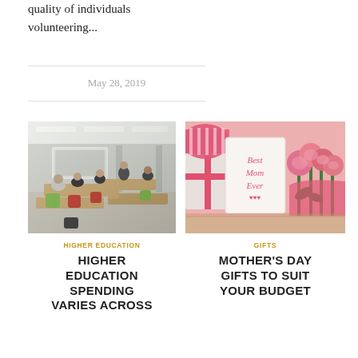quality of individuals volunteering...
May 28, 2019
[Figure (photo): Students sitting in a modern classroom with green and orange chairs, working at tables with a projector screen at the front.]
HIGHER EDUCATION
HIGHER EDUCATION SPENDING VARIES ACROSS
[Figure (photo): A 'Best Mom Ever' greeting card with pink roses and a gift box on a pink background.]
GIFTS
MOTHER'S DAY GIFTS TO SUIT YOUR BUDGET